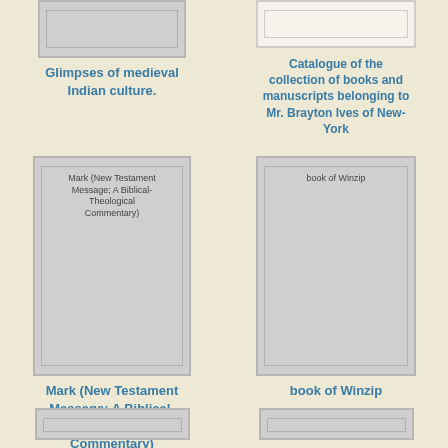[Figure (illustration): Book cover thumbnail for 'Glimpses of medieval Indian culture', partially cropped at top]
Glimpses of medieval Indian culture.
[Figure (illustration): Book cover thumbnail for 'Catalogue of the collection of books and manuscripts belonging to Mr. Brayton Ives of New-York', partially cropped at top, white cover]
Catalogue of the collection of books and manuscripts belonging to Mr. Brayton Ives of New-York
[Figure (illustration): Book cover thumbnail for 'Mark (New Testament Message; A Biblical-Theological Commentary)']
Mark (New Testament Message; A Biblical-Theological Commentary)
[Figure (illustration): Book cover thumbnail for 'book of Winzip']
book of Winzip
[Figure (illustration): Partial book cover at bottom left, cropped]
[Figure (illustration): Partial book cover at bottom right, cropped]